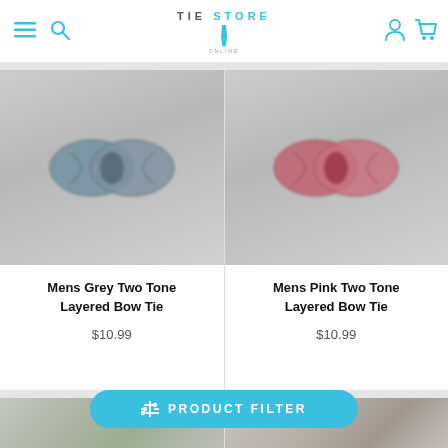TIE STORE — navigation header with menu, search, logo, account, and cart icons
[Figure (photo): Grey two-tone layered bow tie on light grey background]
[Figure (photo): Pink two-tone layered bow tie on light grey background]
Mens Grey Two Tone Layered Bow Tie
$10.99
Mens Pink Two Tone Layered Bow Tie
$10.99
[Figure (photo): Partially visible product image on left, showing green and grey blurred items]
[Figure (photo): Partially visible product image on right, showing blurred items]
PRODUCT FILTER